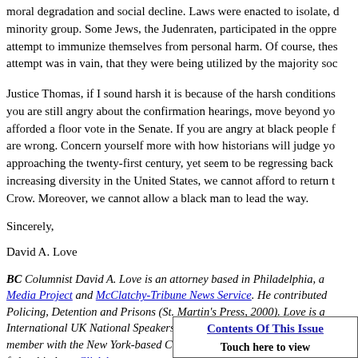moral degradation and social decline. Laws were enacted to isolate, d minority group. Some Jews, the Judenraten, participated in the oppre attempt to immunize themselves from personal harm. Of course, thes attempt was in vain, that they were being utilized by the majority soc
Justice Thomas, if I sound harsh it is because of the harsh conditions you are still angry about the confirmation hearings, move beyond yo afforded a floor vote in the Senate. If you are angry at black people f are wrong. Concern yourself more with how historians will judge yo approaching the twenty-first century, yet seem to be regressing back increasing diversity in the United States, we cannot afford to return t Crow. Moreover, we cannot allow a black man to lead the way.
Sincerely,
David A. Love
BC Columnist David A. Love is an attorney based in Philadelphia, a Media Project and McClatchy-Tribune News Service. He contributed Policing, Detention and Prisons (St. Martin's Press, 2000). Love is a International UK National Speakers Tour, and organized the first na staff member with the New York-based Center for Constitutional Rig Black federal judges. Click here to contact Mr. Love.
Contents Of This Issue
Touch here to view